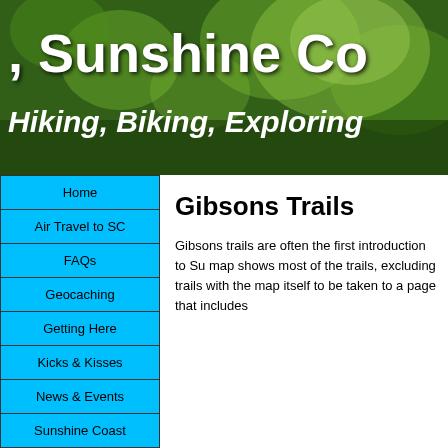[Figure (photo): Forest/nature banner with green trees and foliage background]
Sunshine Co
Hiking, Biking, Exploring
Home
Air Travel to SC
FAQs
Geocaching
Getting Here
Kicks & Kisses
News & Events
Sunshine Coast
Blog
Hiking & Biking Trails
Bikes & Hikes
Gibsons Trails
Gibsons trails are often the first introduction to Su... map shows most of the trails, excluding trails with... the map itself to be taken to a page that includes...